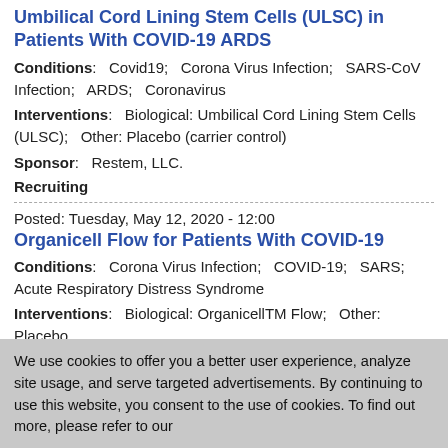Umbilical Cord Lining Stem Cells (ULSC) in Patients With COVID-19 ARDS
Conditions:   Covid19;   Corona Virus Infection;   SARS-CoV Infection;   ARDS;   Coronavirus
Interventions:   Biological: Umbilical Cord Lining Stem Cells (ULSC);   Other: Placebo (carrier control)
Sponsor:   Restem, LLC.
Recruiting
Posted: Tuesday, May 12, 2020 - 12:00
Organicell Flow for Patients With COVID-19
Conditions:   Corona Virus Infection;   COVID-19;   SARS; Acute Respiratory Distress Syndrome
Interventions:   Biological: OrganicellTM Flow;   Other: Placebo
Sponsor:   Organicell Regenerative Medicine
Not yet recruiting
Posted: Thursday, April 9, 2020 - 12:00
Stem Cell in Acute Myocardial Infarction
We use cookies to offer you a better user experience, analyze site usage, and serve targeted advertisements. By continuing to use this website, you consent to the use of cookies. To find out more, please refer to our